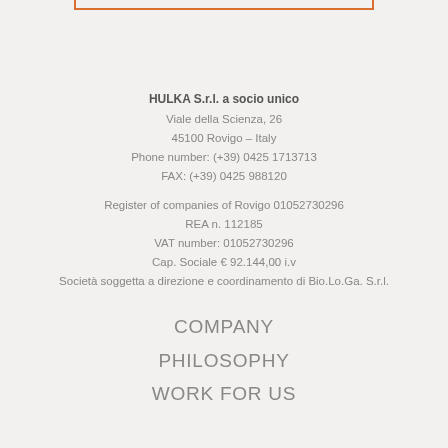[Figure (other): Partial orange rectangle border at top center of page]
HULKA S.r.l. a socio unico
Viale della Scienza, 26
45100 Rovigo – Italy
Phone number: (+39) 0425 1713713
FAX: (+39) 0425 988120

Register of companies of Rovigo 01052730296
REA n. 112185
VAT number: 01052730296
Cap. Sociale € 92.144,00 i.v
Società soggetta a direzione e coordinamento di Bio.Lo.Ga. S.r.l.
COMPANY
PHILOSOPHY
WORK FOR US